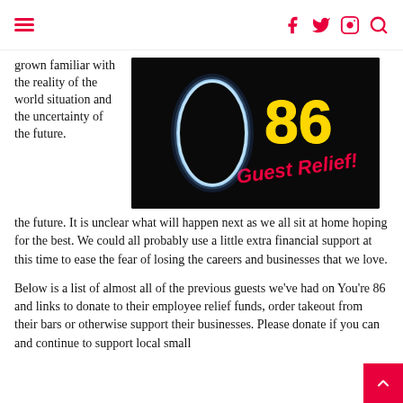[hamburger menu] [facebook] [twitter] [instagram] [search]
grown familiar with the reality of the world situation and the uncertainty of the future. It is unclear what will happen next as we all sit at home hoping for the best. We could all probably use a little extra financial support at this time to ease the fear of losing the careers and businesses that we love.
[Figure (photo): Neon sign showing '86 Guest Relief!' with yellow '86' text and red 'Guest Relief!' text on a dark background with a glowing blue/white neon loop shape]
Below is a list of almost all of the previous guests we've had on You're 86 and links to donate to their employee relief funds, order takeout from their bars or otherwise support their businesses. Please donate if you can and continue to support local small